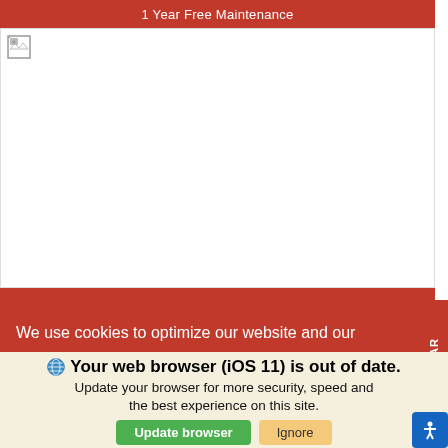1 Year Free Maintenance
[Figure (photo): Broken/unloaded car image placeholder on white background]
We use cookies to optimize our website and our
SELL US YOUR CAR
Your web browser (iOS 11) is out of date. Update your browser for more security, speed and the best experience on this site.
Update browser | Ignore